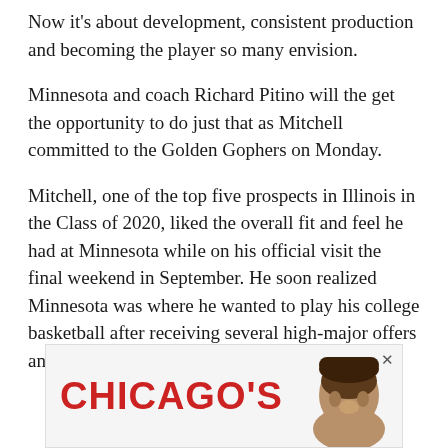Now it's about development, consistent production and becoming the player so many envision.
Minnesota and coach Richard Pitino will the get the opportunity to do just that as Mitchell committed to the Golden Gophers on Monday.
Mitchell, one of the top five prospects in Illinois in the Class of 2020, liked the overall fit and feel he had at Minnesota while on his official visit the final weekend in September. He soon realized Minnesota was where he wanted to play his college basketball after receiving several high-major offers and visiting Rutgers and Xavier.
[Figure (other): Advertisement banner reading CHICAGO'S with a partial photo of a person's head on the right side and a close button (x) in the top right corner.]